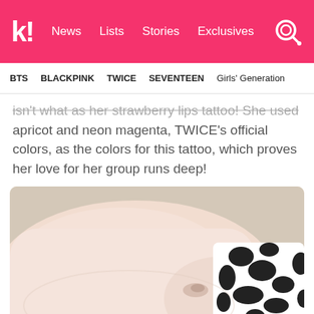k! News  Lists  Stories  Exclusives
BTS  BLACKPINK  TWICE  SEVENTEEN  Girls' Generation
isn't what as her strawberry lips tattoo! She used apricot and neon magenta, TWICE's official colors, as the colors for this tattoo, which proves her love for her group runs deep!
[Figure (photo): Close-up photo of a person's wrist/inner arm with a small tattoo visible, wearing a black and white patterned sleeve, with a pink item partially visible at bottom.]